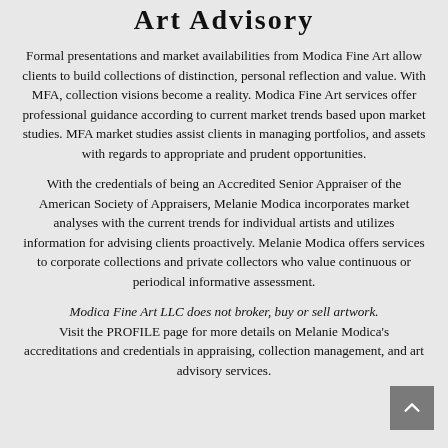Art Advisory
Formal presentations and market availabilities from Modica Fine Art allow clients to build collections of distinction, personal reflection and value. With MFA, collection visions become a reality. Modica Fine Art services offer professional guidance according to current market trends based upon market studies. MFA market studies assist clients in managing portfolios, and assets with regards to appropriate and prudent opportunities.
With the credentials of being an Accredited Senior Appraiser of the American Society of Appraisers, Melanie Modica incorporates market analyses with the current trends for individual artists and utilizes information for advising clients proactively. Melanie Modica offers services to corporate collections and private collectors who value continuous or periodical informative assessment.
Modica Fine Art LLC does not broker, buy or sell artwork. Visit the PROFILE page for more details on Melanie Modica's accreditations and credentials in appraising, collection management, and art advisory services.